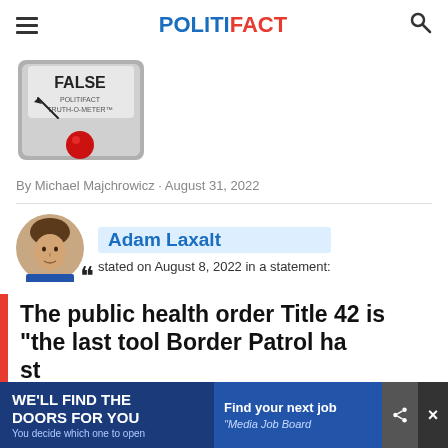POLITIFACT
[Figure (illustration): PolitiFact Truth-O-Meter showing FALSE rating, gray meter device with red button and needle pointing to FALSE label]
By Michael Majchrowicz · August 31, 2022
Adam Laxalt stated on August 8, 2022 in a statement:
The public health order Title 42 is "the last tool Border Patrol ha... st... ill...
[Figure (other): Advertisement banner: WE'LL FIND THE DOORS FOR YOU - You decide which one to open | Find your next job - Media Job Board]